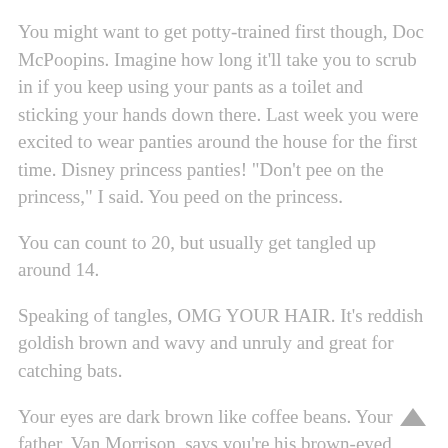You might want to get potty-trained first though, Doc McPoopins. Imagine how long it'll take you to scrub in if you keep using your pants as a toilet and sticking your hands down there. Last week you were excited to wear panties around the house for the first time. Disney princess panties! "Don't pee on the princess," I said. You peed on the princess.
You can count to 20, but usually get tangled up around 14.
Speaking of tangles, OMG YOUR HAIR. It's reddish goldish brown and wavy and unruly and great for catching bats.
Your eyes are dark brown like coffee beans. Your father, Van Morrison, says you're his brown-eyed girl. You've really nailed the stink eye though, assisted by your big…